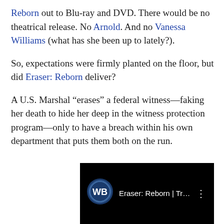Reborn out to Blu-ray and DVD. There would be no theatrical release. No Arnold. And no Vanessa Williams (what has she been up to lately?).
So, expectations were firmly planted on the floor, but did Eraser: Reborn deliver?
A U.S. Marshal “erases” a federal witness—faking her death to hide her deep in the witness protection program—only to have a breach within his own department that puts them both on the run.
[Figure (screenshot): YouTube video thumbnail showing Warner Bros logo and title 'Eraser: Reborn | Trail...' with three-dot menu on black background]